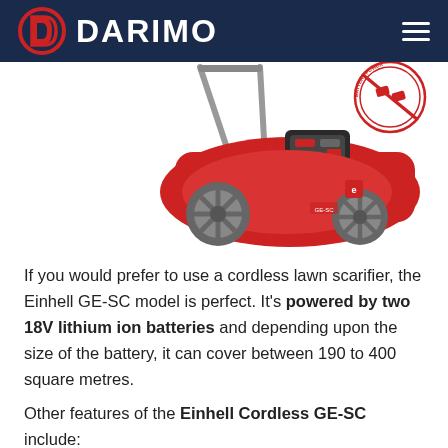DARIMO
[Figure (photo): Red Einhell GE-SC cordless lawn scarifier with grey wheels and handle, with a circular badge in top right corner indicating battery compatibility]
If you would prefer to use a cordless lawn scarifier, the Einhell GE-SC model is perfect. It's powered by two 18V lithium ion batteries and depending upon the size of the battery, it can cover between 190 to 400 square metres.
Other features of the Einhell Cordless GE-SC include: